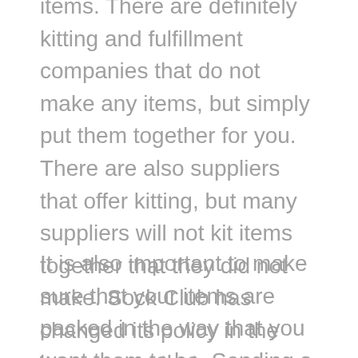items. There are definitely kitting and fulfillment companies that do not make any items, but simply put them together for you. There are also suppliers that offer kitting, but many suppliers will not kit items together that they did not make. Sock Club has changed its policy in the last year so that we can proudly offer kitting of any item, regardless of source, into a shipment for you.
It is also important to make sure that your items are packed in the way that you want them to be. Sending a photo or a schematic to your kitter is the key to making each package come together as